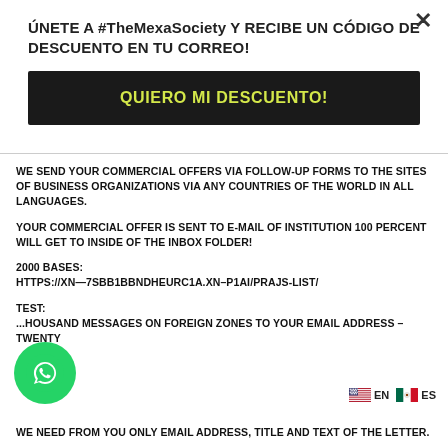ÚNETE A #TheMexaSociety Y RECIBE UN CÓDIGO DE DESCUENTO EN TU CORREO!
QUIERO MI DESCUENTO!
WE SEND YOUR COMMERCIAL OFFERS VIA FOLLOW-UP FORMS TO THE SITES OF BUSINESS ORGANIZATIONS VIA ANY COUNTRIES OF THE WORLD IN ALL LANGUAGES.
YOUR COMMERCIAL OFFER IS SENT TO E-MAIL OF INSTITUTION 100 PERCENT WILL GET TO INSIDE OF THE INBOX FOLDER!
2000 BASES:
HTTPS://XN—7SBB1BBNDHEURC1A.XN–P1AI/PRAJS-LIST/
TEST:
...HOUSAND MESSAGES ON FOREIGN ZONES TO YOUR EMAIL ADDRESS – TWENTY
WE NEED FROM YOU ONLY EMAIL ADDRESS, TITLE AND TEXT OF THE LETTER.